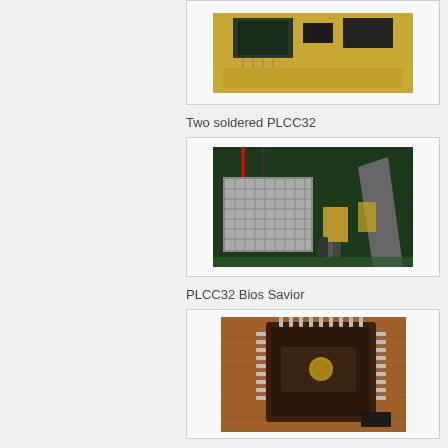[Figure (photo): Close-up photo of a circuit board with chips, partially cropped at top of page]
Two soldered PLCC32
[Figure (photo): Photo of a circuit board interior showing a heatsink, wiring, and electronic components including capacitors and a transistor]
PLCC32 Bios Savior
[Figure (photo): Photo of a PLCC32 Bios Savior chip module, a small dark brown rectangular device with metal pins on a wooden surface]